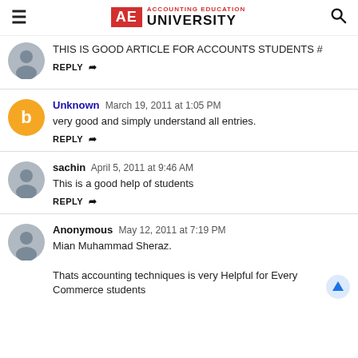AE ACCOUNTING EDUCATION UNIVERSITY
THIS IS GOOD ARTICLE FOR ACCOUNTS STUDENTS #
REPLY
Unknown March 19, 2011 at 1:05 PM
very good and simply understand all entries.
REPLY
sachin April 5, 2011 at 9:46 AM
This is a good help of students
REPLY
Anonymous May 12, 2011 at 7:19 PM
Mian Muhammad Sheraz.
Thats accounting techniques is very Helpful for Every Commerce students